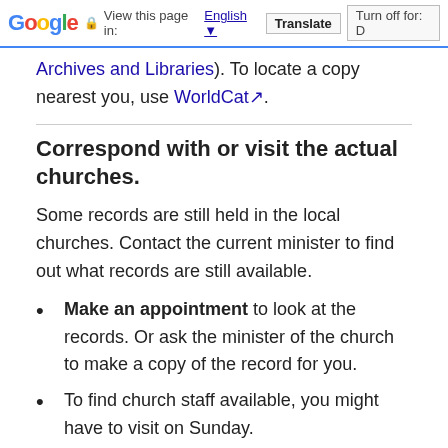Google  View this page in: English [▼]  Translate  Turn off for: D
Archives and Libraries). To locate a copy nearest you, use WorldCat.
Correspond with or visit the actual churches.
Some records are still held in the local churches. Contact the current minister to find out what records are still available.
Make an appointment to look at the records. Or ask the minister of the church to make a copy of the record for you.
To find church staff available, you might have to visit on Sunday.
Ask for small searches at a time, such as one birth